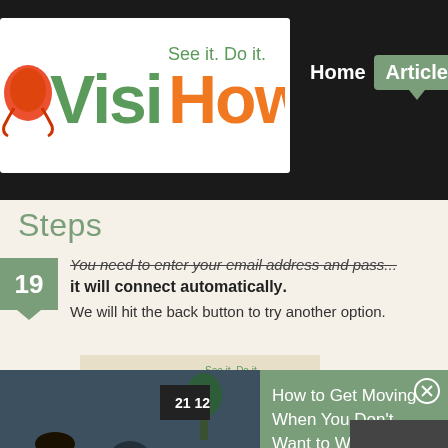[Figure (logo): VisiHow logo with frog mascot, green 'Visi' and orange 'How', tagline 'See it. Do it.']
Home  Articles
Steps
19. You need to enter your email address and password once and it will connect automatically. We will hit the back button to try another option.
[Figure (screenshot): VisiHow logo shown as content image within article]
[Figure (photo): Video thumbnail showing person lying on couch with remote control, with play button overlay]
How to Get Moving When You Don't Want to Work Out